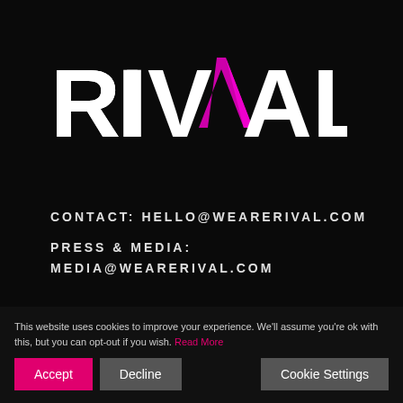[Figure (logo): RIVAL logo in white bold text with a pink/magenta upward-pointing arrow replacing the letter A]
CONTACT: HELLO@WEARERIVAL.COM
PRESS & MEDIA: MEDIA@WEARERIVAL.COM
UK
This website uses cookies to improve your experience. We'll assume you're ok with this, but you can opt-out if you wish. Read More
Accept
Decline
Cookie Settings